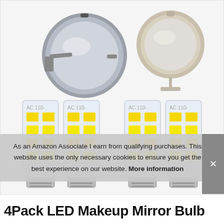[Figure (photo): Product photo showing two circular makeup mirrors (one chrome wall-mounted, one brushed nickel tabletop) and four LED GU10 corn bulbs with yellow/white LED arrays visible through clear cylindrical glass, arranged in a grid on a light gray background.]
As an Amazon Associate I earn from qualifying purchases. This website uses the only necessary cookies to ensure you get the best experience on our website. More information
4Pack LED Makeup Mirror Bulb